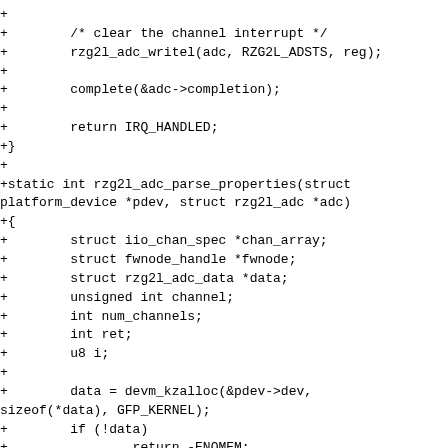+
+        /* clear the channel interrupt */
+        rzg2l_adc_writel(adc, RZG2L_ADSTS, reg);
+
+        complete(&adc->completion);
+
+        return IRQ_HANDLED;
+}
+
+static int rzg2l_adc_parse_properties(struct platform_device *pdev, struct rzg2l_adc *adc)
+{
+        struct iio_chan_spec *chan_array;
+        struct fwnode_handle *fwnode;
+        struct rzg2l_adc_data *data;
+        unsigned int channel;
+        int num_channels;
+        int ret;
+        u8 i;
+
+        data = devm_kzalloc(&pdev->dev, sizeof(*data), GFP_KERNEL);
+        if (!data)
+                return -ENOMEM;
+
+        num_channels =
device_get_child_node_count(&pdev->dev);
+        if (!num_channels) {
+                dev_err(&pdev->dev, "no channel children\n");